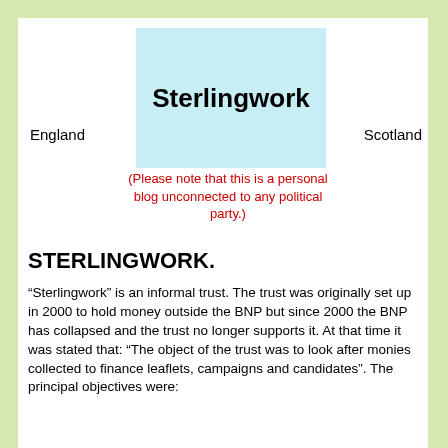[Figure (logo): Sterlingwork logo on light blue background]
England
Scotland
(Please note that this is a personal blog unconnected to any political party.)
STERLINGWORK.
“Sterlingwork” is an informal trust. The trust was originally set up in 2000 to hold money outside the BNP but since 2000 the BNP has collapsed and the trust no longer supports it. At that time it was stated that: “The object of the trust was to look after monies collected to finance leaflets, campaigns and candidates”. The principal objectives were: